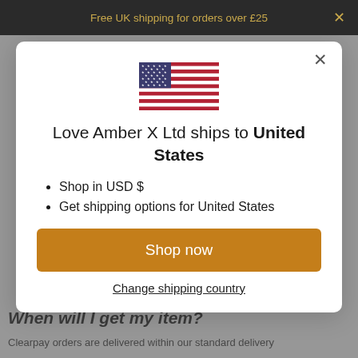Free UK shipping for orders over £25
[Figure (illustration): US flag emoji/icon centered in modal]
Love Amber X Ltd ships to United States
Shop in USD $
Get shipping options for United States
Shop now
Change shipping country
When will I get my item?
Clearpay orders are delivered within our standard delivery